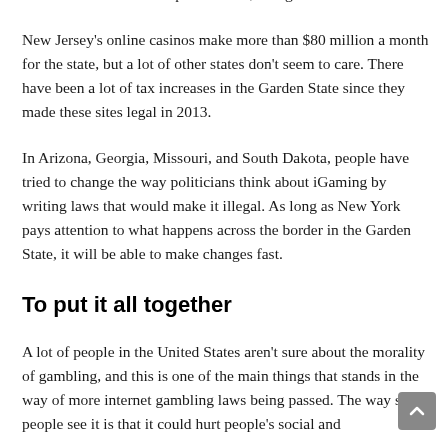businesses take bets on sports events, though.
New Jersey's online casinos make more than $80 million a month for the state, but a lot of other states don't seem to care. There have been a lot of tax increases in the Garden State since they made these sites legal in 2013.
In Arizona, Georgia, Missouri, and South Dakota, people have tried to change the way politicians think about iGaming by writing laws that would make it illegal. As long as New York pays attention to what happens across the border in the Garden State, it will be able to make changes fast.
To put it all together
A lot of people in the United States aren't sure about the morality of gambling, and this is one of the main things that stands in the way of more internet gambling laws being passed. The way some people see it is that it could hurt people's social and